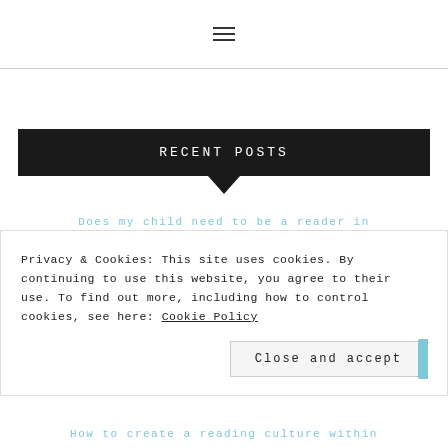≡
RECENT POSTS
Does my child need to be a reader in
Privacy & Cookies: This site uses cookies. By continuing to use this website, you agree to their use. To find out more, including how to control cookies, see here: Cookie Policy
Close and accept
How to create a reading culture within